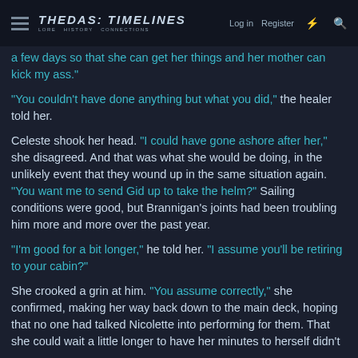THEDAS TIMELINES — Log in | Register
a few days so that she can get her things and her mother can kick my ass.
"You couldn't have done anything but what you did," the healer told her.
Celeste shook her head. "I could have gone ashore after her," she disagreed. And that was what she would be doing, in the unlikely event that they wound up in the same situation again. "You want me to send Gid up to take the helm?" Sailing conditions were good, but Brannigan's joints had been troubling him more and more over the past year.
"I'm good for a bit longer," he told her. "I assume you'll be retiring to your cabin?"
She crooked a grin at him. "You assume correctly," she confirmed, making her way back down to the main deck, hoping that no one had talked Nicolette into performing for them. That she could wait a little longer to have her minutes to herself didn't